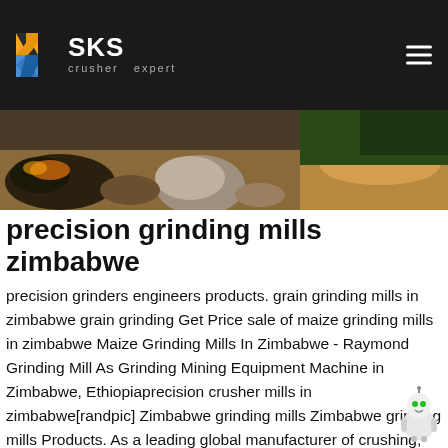SKS crusher expert
[Figure (photo): Outdoor mining/crushing site with rocks, soil and debris in browns and greens]
precision grinding mills zimbabwe
precision grinders engineers products. grain grinding mills in zimbabwe grain grinding Get Price sale of maize grinding mills in zimbabwe Maize Grinding Mills In Zimbabwe - Raymond Grinding Mill As Grinding Mining Equipment Machine in Zimbabwe, Ethiopiaprecision crusher mills in zimbabwe[randpic] Zimbabwe grinding mills Zimbabwe grinding mills Products. As a leading global manufacturer of crushing, grinding and mining equipments, we offer advanced, reasonable solutions for any size-reduction requirementsPrecision Grinding Mills In Zimbabwe. Harare precision grinders prices of grinding millsrinding mills for sale in